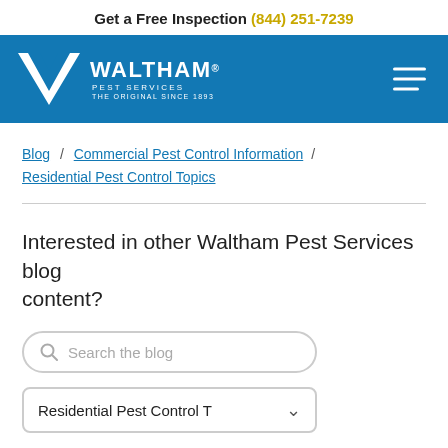Get a Free Inspection (844) 251-7239
[Figure (logo): Waltham Pest Services logo with W chevron mark and text 'WALTHAM PEST SERVICES THE ORIGINAL SINCE 1893' on blue background, with hamburger menu icon]
Blog / Commercial Pest Control Information / Residential Pest Control Topics
Interested in other Waltham Pest Services blog content?
Search the blog
Residential Pest Control T